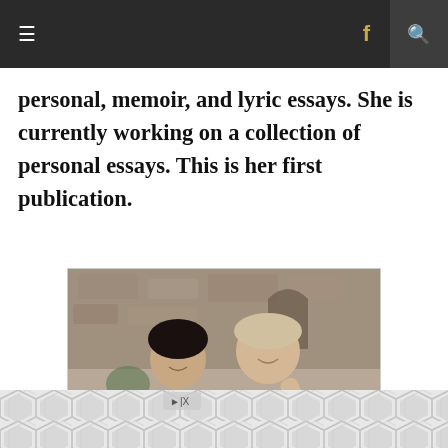≡  f  🔍
personal, memoir, and lyric essays. She is currently working on a collection of personal essays. This is her first publication.
[Figure (photo): Two women smiling, standing together indoors in what appears to be a rustic stone building. The woman on the left has dark hair and is wearing a dark top. The woman on the right is taller with lighter hair and is wearing a navy jacket.]
[Figure (other): Advertisement banner with a hexagonal tile pattern in grey and white tones.]